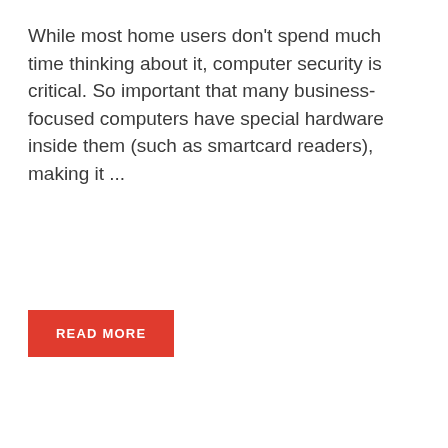While most home users don't spend much time thinking about it, computer security is critical. So important that many business-focused computers have special hardware inside them (such as smartcard readers), making it ...
READ MORE